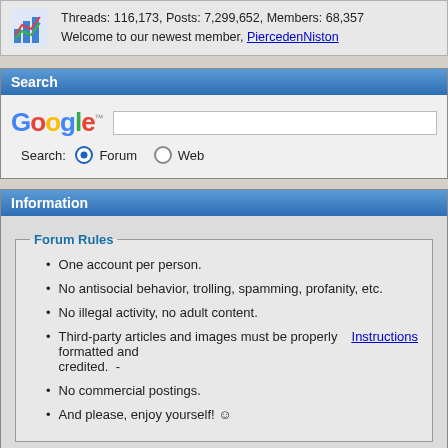Threads: 116,173, Posts: 7,299,652, Members: 68,357
Welcome to our newest member, PiercedenNiston
Search
[Figure (screenshot): Google search bar with Forum and Web radio buttons]
Information
One account per person.
No antisocial behavior, trolling, spamming, profanity, etc.
No illegal activity, no adult content.
Third-party articles and images must be properly formatted and credited.  - Instructions
No commercial postings.
And please, enjoy yourself! ☺